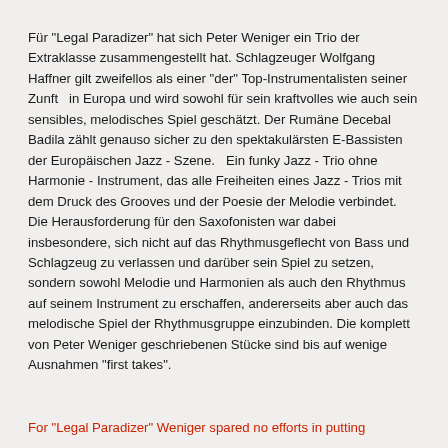Für "Legal Paradizer" hat sich Peter Weniger ein Trio der Extraklasse zusammengestellt hat. Schlagzeuger Wolfgang Haffner gilt zweifellos als einer "der" Top-Instrumentalisten seiner Zunft  in Europa und wird sowohl für sein kraftvolles wie auch sein sensibles, melodisches Spiel geschätzt. Der Rumäne Decebal Badila zählt genauso sicher zu den spektakulärsten E-Bassisten der Europäischen Jazz - Szene.  Ein funky Jazz - Trio ohne Harmonie - Instrument, das alle Freiheiten eines Jazz - Trios mit dem Druck des Grooves und der Poesie der Melodie verbindet. Die Herausforderung für den Saxofonisten war dabei insbesondere, sich nicht auf das Rhythmusgeflecht von Bass und Schlagzeug zu verlassen und darüber sein Spiel zu setzen, sondern sowohl Melodie und Harmonien als auch den Rhythmus auf seinem Instrument zu erschaffen, andererseits aber auch das melodische Spiel der Rhythmusgruppe einzubinden. Die komplett von Peter Weniger geschriebenen Stücke sind bis auf wenige Ausnahmen "first takes".
For "Legal Paradizer" Weniger spared no efforts in putting